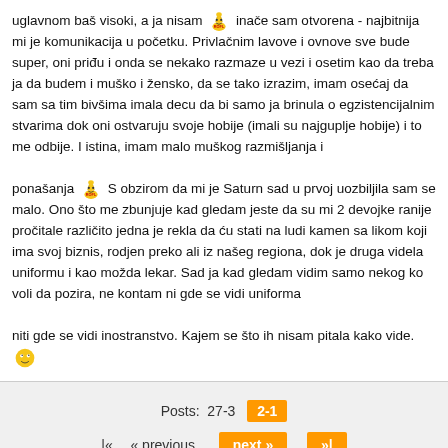uglavnom baš visoki, a ja nisam [rofl emoji] inače sam otvorena - najbitnija mi je komunikacija u početku. Privlačnim lavove i ovnove sve bude super, oni priđu i onda se nekako razmaze u vezi i osetim kao da treba ja da budem i muško i žensko, da se tako izrazim, imam osećaj da sam sa tim bivšima imala decu da bi samo ja brinula o egzistencijalnim stvarima dok oni ostvaruju svoje hobije (imali su najguplje hobije) i to me odbije. I istina, imam malo muškog razmišljanja i

ponašanja [rofl emoji] S obzirom da mi je Saturn sad u prvoj uozbiljila sam se malo. Ono što me zbunjuje kad gledam jeste da su mi 2 devojke ranije pročitale različito jedna je rekla da ću stati na ludi kamen sa likom koji ima svoj biznis, rodjen preko ali iz našeg regiona, dok je druga videla uniformu i kao možda lekar. Sad ja kad gledam vidim samo nekog ko voli da pozira, ne kontam ni gde se vidi uniforma

niti gde se vidi inostranstvo. Kajem se što ih nisam pitala kako vide. [smile emoji]
Posts:  27-3  2-1
|«  « previous  next »  »|